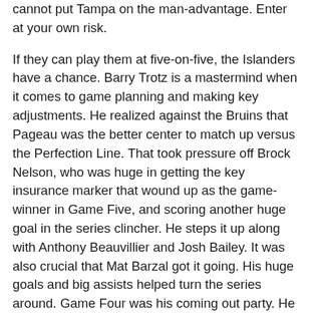cannot put Tampa on the man-advantage. Enter at your own risk.
If they can play them at five-on-five, the Islanders have a chance. Barry Trotz is a mastermind when it comes to game planning and making key adjustments. He realized against the Bruins that Pageau was the better center to match up versus the Perfection Line. That took pressure off Brock Nelson, who was huge in getting the key insurance marker that wound up as the game-winner in Game Five, and scoring another huge goal in the series clincher. He steps it up along with Anthony Beauvillier and Josh Bailey. It was also crucial that Mat Barzal got it going. His huge goals and big assists helped turn the series around. Game Four was his coming out party. He was the best player scoring a goal and adding an assist while drawing a penalty on David Krejci due to mixing it up.